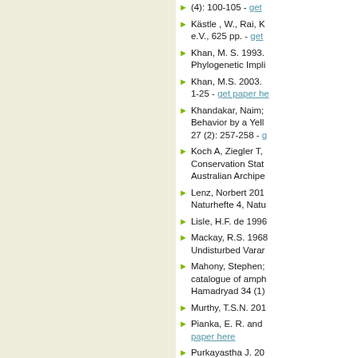(4): 100-105 - get paper here
Kästle , W., Rai, K... e.V., 625 pp. - get paper here
Khan, M. S. 1993. ... Phylogenetic Impli...
Khan, M.S. 2003. ... 1-25 - get paper here
Khandakar, Naim; ... Behavior by a Yello... 27 (2): 257-258 - g...
Koch A, Ziegler T, ... Conservation Stat... Australian Archipe...
Lenz, Norbert 201... Naturhefte 4, Natu...
Lisle, H.F. de 1996...
Mackay, R.S. 1968... Undisturbed Varar...
Mahony, Stephen; ... catalogue of amph... Hamadryad 34 (1)...
Murthy, T.S.N. 201...
Pianka, E. R. and ... paper here
Purkayastha J. 20...
Purkayastha, J. 20...